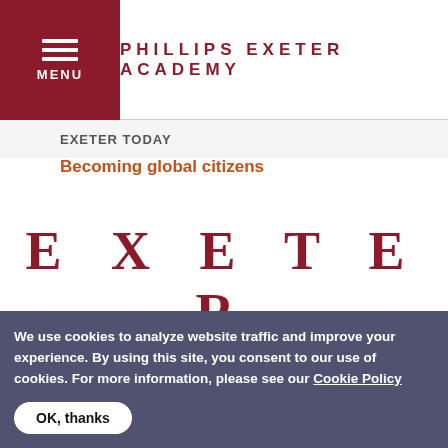PHILLIPS EXETER ACADEMY
EXETER TODAY
Becoming global citizens
EXETER
Phillips Exeter Academy, 20 Main Street, Exeter, NH 03833-2460
603-772-4311
We use cookies to analyze website traffic and improve your experience. By using this site, you consent to our use of cookies. For more information, please see our Cookie Policy
OK, thanks